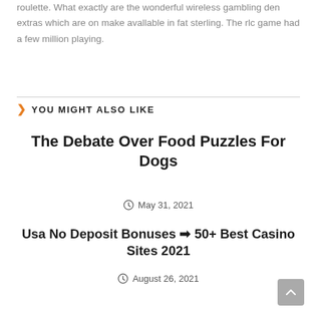roulette. What exactly are the wonderful wireless gambling den extras which are on make avallable in fat sterling. The rlc game had a few million playing.
YOU MIGHT ALSO LIKE
The Debate Over Food Puzzles For Dogs
May 31, 2021
Usa No Deposit Bonuses ⭢ 50+ Best Casino Sites 2021
August 26, 2021